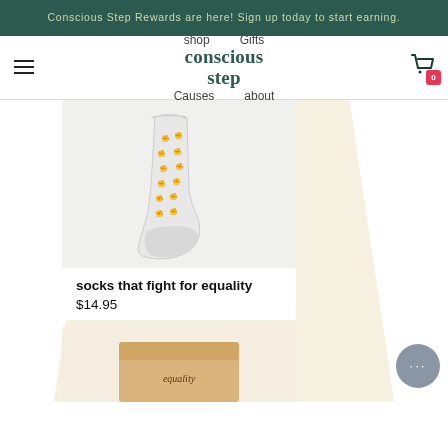Conscious Step Rewards are here! Sign up today to start earning.
[Figure (screenshot): Navigation bar with hamburger menu, shop/Gifts/Causes/about navigation links, Conscious Step logo in green, and shopping cart icon with 0 badge]
[Figure (photo): White crew sock with small black raised fist pattern repeating across the sock, displayed against a light background]
socks that fight for equality
$14.95
[Figure (photo): Partially visible product below - appears to be a box with 'equality' text visible]